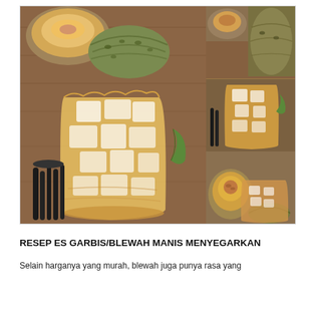[Figure (photo): Collage of blewah/garbis melon drink photos: large glass of orange iced drink with ice cubes in foreground left, whole and halved melons, and smaller images on right showing glass of iced melon drink, halved melons, and another glass of melon juice.]
RESEP ES GARBIS/BLEWAH MANIS MENYEGARKAN
Selain harganya yang murah, blewah juga punya rasa yang